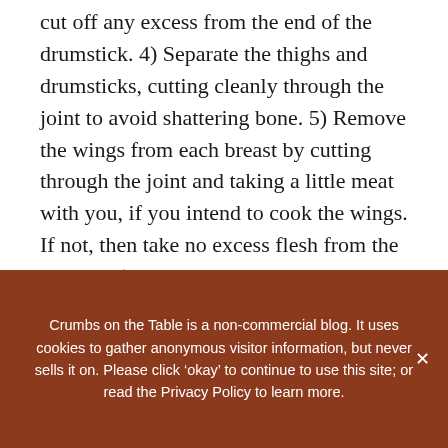cut off any excess from the end of the drumstick. 4) Separate the thighs and drumsticks, cutting cleanly through the joint to avoid shattering bone. 5) Remove the wings from each breast by cutting through the joint and taking a little meat with you, if you intend to cook the wings. If not, then take no excess flesh from the breasts. 6) Cut the breasts into two servings each. 7) Trim any excess fat etc from each piece of chicken. 8) Transfer the
Crumbs on the Table is a non-commercial blog. It uses cookies to gather anonymous visitor information, but never sells it on. Please click ‘okay’ to continue to use this site; or read the Privacy Policy to learn more.